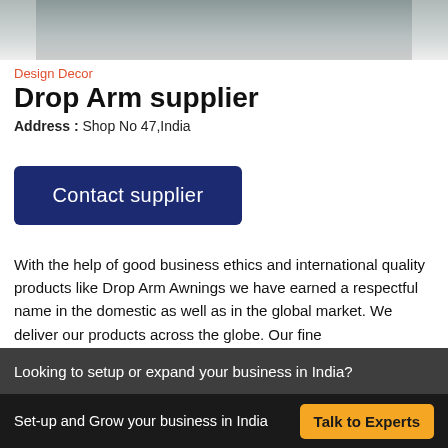[Figure (photo): Partial photo of a storefront or building exterior, showing a sign/awning structure, cropped at top of page.]
Design Decor
Drop Arm supplier
Address : Shop No 47,India
Contact supplier
With the help of good business ethics and international quality products like Drop Arm Awnings we have earned a respectful name in the domestic as well as in the global market. We deliver our products across the globe. Our fine
Looking to setup or expand your business in India?
Set-up and Grow your business in India   Talk to Experts